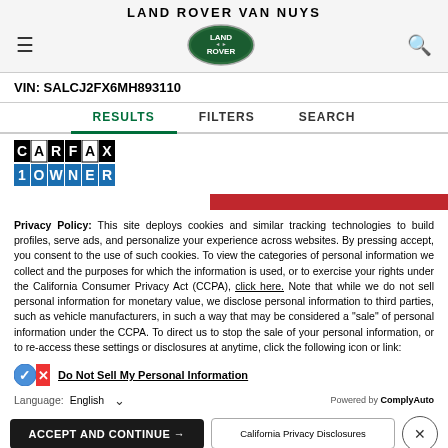LAND ROVER VAN NUYS
VIN: SALCJ2FX6MH893110
RESULTS   FILTERS   SEARCH
[Figure (logo): CARFAX 1 OWNER badge logo]
Privacy Policy: This site deploys cookies and similar tracking technologies to build profiles, serve ads, and personalize your experience across websites. By pressing accept, you consent to the use of such cookies. To view the categories of personal information we collect and the purposes for which the information is used, or to exercise your rights under the California Consumer Privacy Act (CCPA), click here. Note that while we do not sell personal information for monetary value, we disclose personal information to third parties, such as vehicle manufacturers, in such a way that may be considered a "sale" of personal information under the CCPA. To direct us to stop the sale of your personal information, or to re-access these settings or disclosures at anytime, click the following icon or link:
Do Not Sell My Personal Information
Language: English    Powered by ComplyAuto
ACCEPT AND CONTINUE →   California Privacy Disclosures